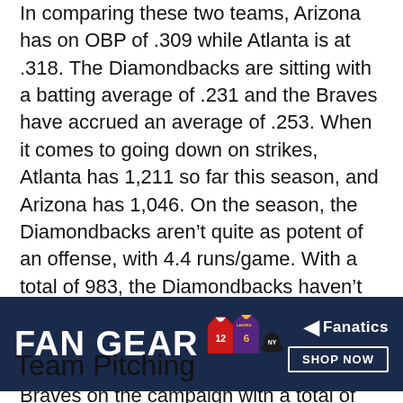In comparing these two teams, Arizona has on OBP of .309 while Atlanta is at .318. The Diamondbacks are sitting with a batting average of .231 and the Braves have accrued an average of .253. When it comes to going down on strikes, Atlanta has 1,211 so far this season, and Arizona has 1,046. On the season, the Diamondbacks aren't quite as potent of an offense, with 4.4 runs/game. With a total of 983, the Diamondbacks haven't tallied as many hits as the Braves for the year. The Arizona Diamondbacks have accounted for less runs that the Atlanta Braves on the campaign with a total of
[Figure (infographic): Fan Gear advertisement banner with dark navy background. Shows 'FAN GEAR' text on left in bold white, sports jerseys in the center (football #12 red jersey, Lakers purple #6 jersey, and a baseball cap/NY jersey), and Fanatics logo with 'SHOP NOW' button on the right.]
Team Pitching